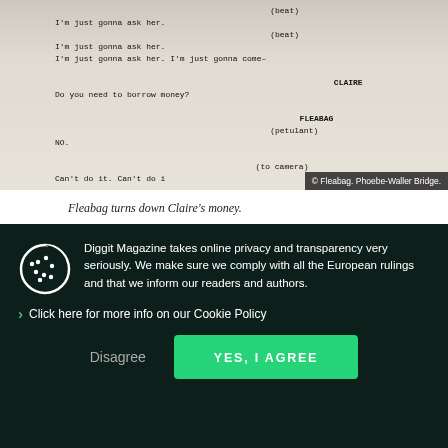[Figure (photo): A scanned screenplay page showing a scene from Fleabag. Dialogue visible: '(beat) I'm just gonna ask her. (beat) I'm just gonna ask her. I'm just gonna come—' then CLAIRE: 'Do you need to borrow money?' then FLEABAG (petulant): 'NO.' then (to camera): 'Can't do it. Can't do i…' Copyright watermark: '© Fleabag. Phoebe-Waller Bridge.']
Fleabag turns down Claire's money.
(3) When narrating what is happening, Fleabag gives the viewer both more context and some guidance for interpretation. She lets the viewer know what the right way of interpreting the scene or context is. When we find Fleabag standing in front of
Diggit Magazine takes online privacy and transparency very seriously. We make sure we comply with all the European rulings and that we inform our readers and authors.
Click here for more info on our Cookie Policy
Disagree
YES, I AGREE